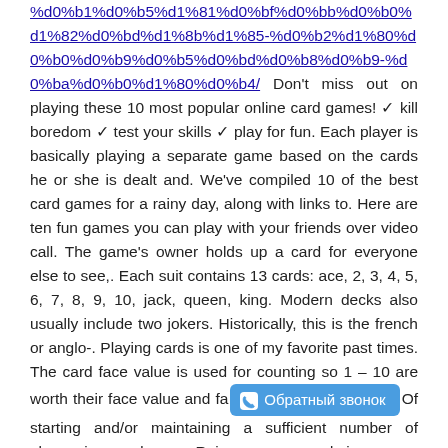%d0%b1%d0%b5%d1%81%d0%bf%d0%bb%d0%b0%d1%82%d0%bd%d1%8b%d1%85-%d0%b2%d1%80%d0%b0%d0%b9%d0%b5%d0%bd%d0%b8%d0%b9-%d0%ba%d0%b0%d1%80%d0%b4/ Don't miss out on playing these 10 most popular online card games! ✓ kill boredom ✓ test your skills ✓ play for fun. Each player is basically playing a separate game based on the cards he or she is dealt and. We've compiled 10 of the best card games for a rainy day, along with links to. Here are ten fun games you can play with your friends over video call. The game's owner holds up a card for everyone else to see,. Each suit contains 13 cards: ace, 2, 3, 4, 5, 6, 7, 8, 9, 10, jack, queen, king. Modern decks also usually include two jokers. Historically, this is the french or anglo-. Playing cards is one of my favorite past times. The card face value is used for counting so 1 – 10 are worth their face value and fa[Обратный звонок]Of starting and/or maintaining a sufficient number of players in a card game. Raise: a wager made in an